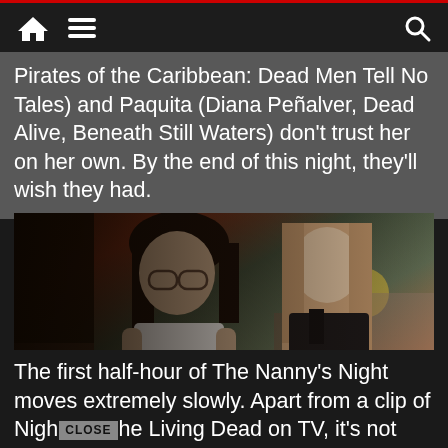[Navigation bar with home, menu, and search icons]
Pirates of the Caribbean: Dead Men Tell No Tales) and Paquita (Diana Peñalver, Dead Alive, Beneath Still Waters) don't trust her on her own. By the end of this night, they'll wish they had.
[Figure (photo): Two young women in a colorful indoor setting. On the left, a woman with glasses and dark wavy hair wearing a white shirt with something tied around her waist. On the right, a woman with long straight light brown hair wearing a dark top.]
The first half-hour of The Nanny's Night moves extremely slowly. Apart from a clip of Night of the Living Dead on TV, it's not until Nicole relates a tale about an escaped killer, which we see as a primitive